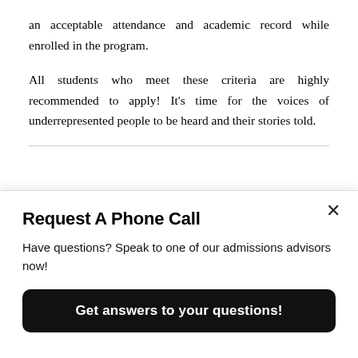an acceptable attendance and academic record while enrolled in the program.
All students who meet these criteria are highly recommended to apply! It’s time for the voices of underrepresented people to be heard and their stories told.
APRIL 20, 2021 | BY MARKETING@INFOCUSFILMSCHOOL.COM
Request A Phone Call
Have questions? Speak to one of our admissions advisors now!
Get answers to your questions!